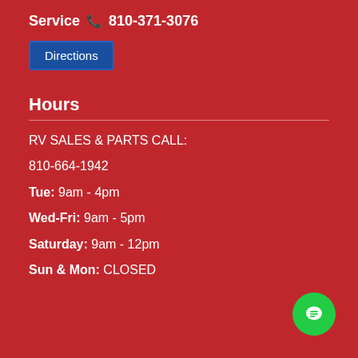Service ☎ 810-371-3076
[Figure (other): Blue Directions button]
Hours
RV SALES & PARTS CALL:
810-664-1942
Tue: 9am - 4pm
Wed-Fri: 9am - 5pm
Saturday: 9am - 12pm
Sun & Mon: CLOSED
[Figure (other): Green chat/messaging button in bottom right corner]